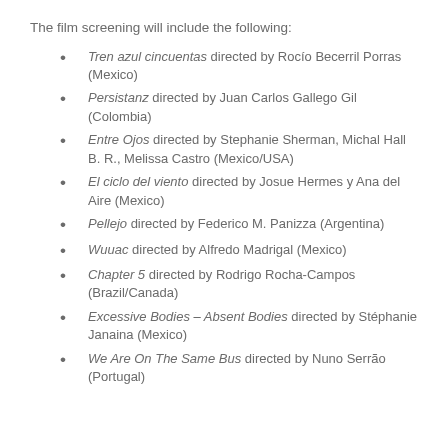The film screening will include the following:
Tren azul cincuentas directed by Rocío Becerril Porras (Mexico)
Persistanz directed by Juan Carlos Gallego Gil (Colombia)
Entre Ojos directed by Stephanie Sherman, Michal Hall B. R., Melissa Castro (Mexico/USA)
El ciclo del viento directed by Josue Hermes y Ana del Aire (Mexico)
Pellejo directed by Federico M. Panizza (Argentina)
Wuuac directed by Alfredo Madrigal (Mexico)
Chapter 5 directed by Rodrigo Rocha-Campos (Brazil/Canada)
Excessive Bodies – Absent Bodies directed by Stéphanie Janaina (Mexico)
We Are On The Same Bus directed by Nuno Serrão (Portugal)